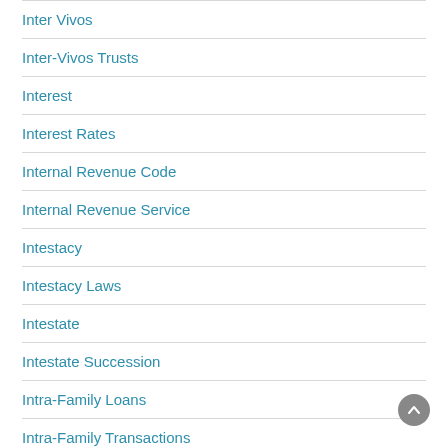Inter Vivos
Inter-Vivos Trusts
Interest
Interest Rates
Internal Revenue Code
Internal Revenue Service
Intestacy
Intestacy Laws
Intestate
Intestate Succession
Intra-Family Loans
Intra-Family Transactions